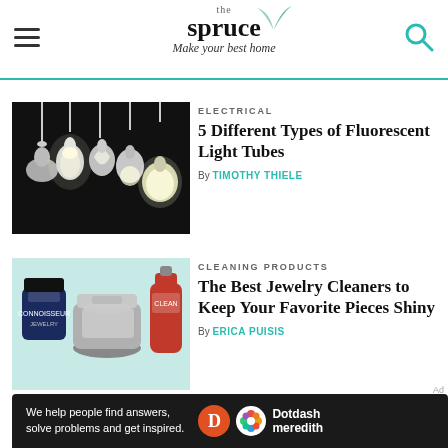[Figure (logo): The Spruce logo with leaf illustration, tagline 'Make your best home']
[Figure (photo): Various light bulbs hanging against black background]
ELECTRICAL
5 Different Types of Fluorescent Light Tubes
By TIMOTHY THIELE
[Figure (photo): Jewelry cleaning products: jar, ultrasonic cleaner, and bottle on teal background]
CLEANING PRODUCTS
The Best Jewelry Cleaners to Keep Your Favorite Pieces Shiny
By ERICA PUISIS
[Figure (logo): Dotdash Meredith ad banner: We help people find answers, solve problems and get inspired.]